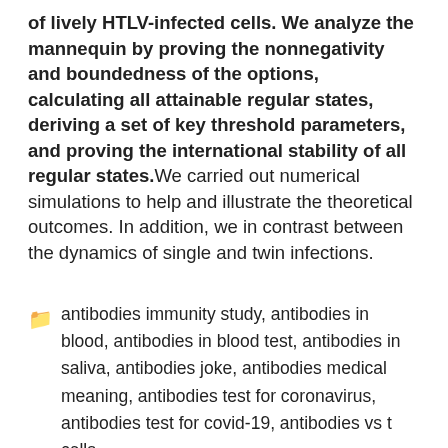of lively HTLV-infected cells. We analyze the mannequin by proving the nonnegativity and boundedness of the options, calculating all attainable regular states, deriving a set of key threshold parameters, and proving the international stability of all regular states. We carried out numerical simulations to help and illustrate the theoretical outcomes. In addition, we in contrast between the dynamics of single and twin infections.
antibodies immunity study, antibodies in blood, antibodies in blood test, antibodies in saliva, antibodies joke, antibodies medical meaning, antibodies test for coronavirus, antibodies test for covid-19, antibodies vs t cells